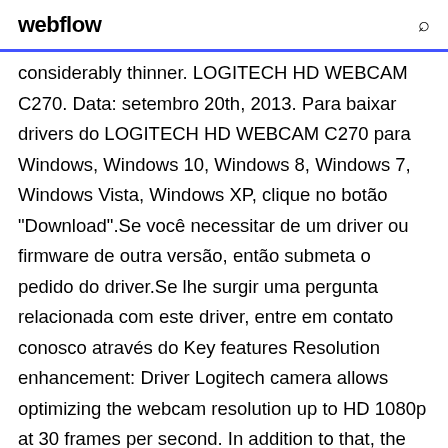webflow
considerably thinner. LOGITECH HD WEBCAM C270. Data: setembro 20th, 2013. Para baixar drivers do LOGITECH HD WEBCAM C270 para Windows, Windows 10, Windows 8, Windows 7, Windows Vista, Windows XP, clique no botão "Download".Se você necessitar de um driver ou firmware de outra versão, então submeta o pedido do driver.Se lhe surgir uma pergunta relacionada com este driver, entre em contato conosco através do Key features Resolution enhancement: Driver Logitech camera allows optimizing the webcam resolution up to HD 1080p at 30 frames per second. In addition to that, the user can adjust the quality of the video or the audio in the recording mode.